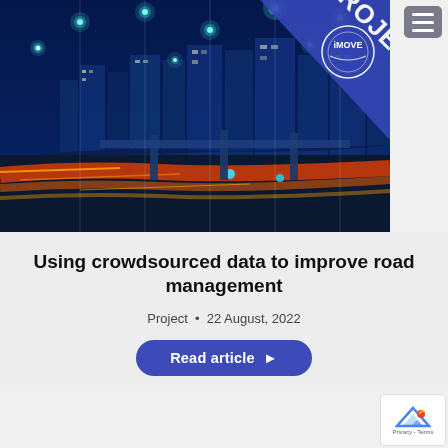[Figure (photo): Night cityscape with highway featuring light trails and glowing smart city connectivity dots overlaid, with iMOVE PROJECT badge in top-right corner]
Using crowdsourced data to improve road management
Project • 22 August, 2022
Read article ▶